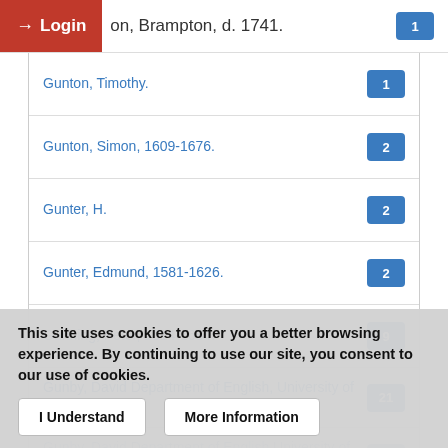Login | on, Brampton, d. 1741.
Gunton, Timothy.
Gunton, Simon, 1609-1676.
Gunter, H.
Gunter, Edmund, 1581-1626.
Gunning, Peter, 1614-1684.
Gunby, David Department of English, University of Canterbury, NZ
Gunby, David Department of English University of Canterbury
This site uses cookies to offer you a better browsing experience. By continuing to use our site, you consent to our use of cookies.
I Understand   More Information